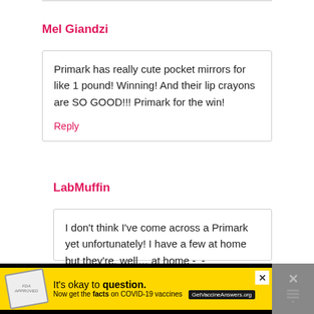Mel Giandzi
Primark has really cute pocket mirrors for like 1 pound! Winning! And their lip crayons are SO GOOD!!! Primark for the win!
Reply
LabMuffin
I don't think I've come across a Primark yet unfortunately! I have a few at home but they're, well… at home -_-
[Figure (infographic): Yellow advertisement banner for COVID-19 vaccine information: 'It's okay to question. Now get the facts on COVID-19 vaccines GetVaccineAnswers.org']